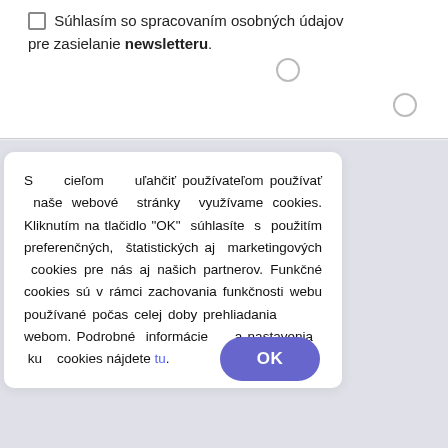☐ Súhlasím so spracovaním osobných údajov pre zasielanie newsletteru.
[Figure (screenshot): Cookie consent popup dialog with Slovak text about cookies and an OK button. Text reads: S cieľom uľahčiť používateľom používať naše webové stránky využívame cookies. Kliknutím na tlačidlo "OK" súhlasíte s použitím preferenčných, štatistických aj marketingových cookies pre nás aj našich partnerov. Funkčné cookies sú v rámci zachovania funkčnosti webu používané počas celej doby prehliadania webom. Podrobné informácie a nastavenia ku cookies nájdete tu.]